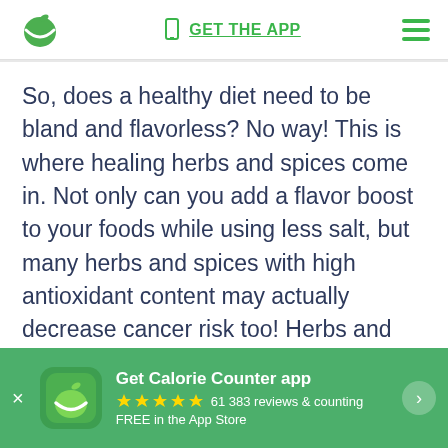GET THE APP
So, does a healthy diet need to be bland and flavorless? No way! This is where healing herbs and spices come in. Not only can you add a flavor boost to your foods while using less salt, but many herbs and spices with high antioxidant content may actually decrease cancer risk too! Herbs and spices are virtually risk-free when added to food and come with the potential
[Figure (screenshot): App store banner: Get Calorie Counter app, 5 stars, 61 383 reviews & counting, FREE in the App Store]